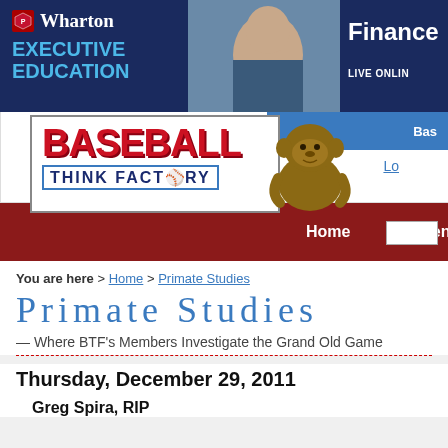[Figure (screenshot): Wharton Executive Education banner ad with logo, photo of man, and 'Finance... LIVE ONLIN...' text on dark blue background]
[Figure (logo): Baseball Think Factory logo with red BASEBALL text, blue THINK FACTORY box, and gorilla mascot figure]
You are here > Home > Primate Studies
Primate Studies
— Where BTF's Members Investigate the Grand Old Game
Thursday, December 29, 2011
Greg Spira, RIP